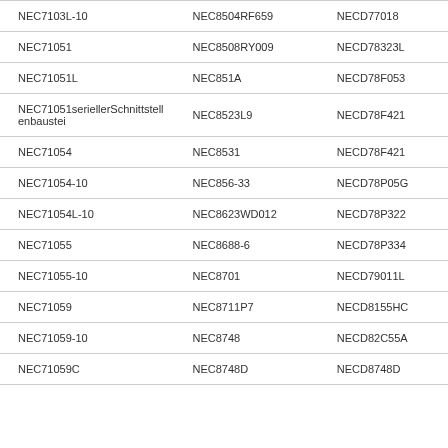| NEC7103L-10 | NEC8504RF659 | NECD77018 |
| NEC71051 | NEC8508RY009 | NECD78323L |
| NEC71051L | NEC851A | NECD78F053 |
| NEC71051seriellerSchnittstellenbaustei | NEC8523L9 | NECD78F421 |
| NEC71054 | NEC8531 | NECD78F421 |
| NEC71054-10 | NEC856-33 | NECD78P05G |
| NEC71054L-10 | NEC8623WD012 | NECD78P322 |
| NEC71055 | NEC8688-6 | NECD78P334 |
| NEC71055-10 | NEC8701 | NECD79011L |
| NEC71059 | NEC8711P7 | NECD8155HC |
| NEC71059-10 | NEC8748 | NECD82C55A |
| NEC71059C | NEC8748D | NECD8748D |